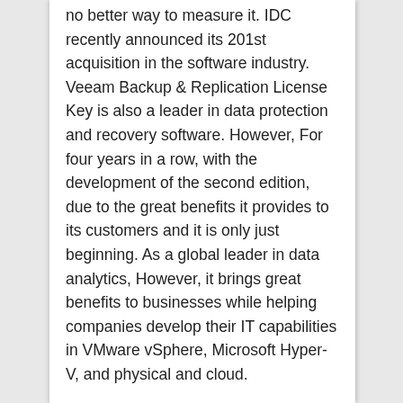no better way to measure it. IDC recently announced its 201st acquisition in the software industry. Veeam Backup & Replication License Key is also a leader in data protection and recovery software. However, For four years in a row, with the development of the second edition, due to the great benefits it provides to its customers and it is only just beginning. As a global leader in data analytics, However, it brings great benefits to businesses while helping companies develop their IT capabilities in VMware vSphere, Microsoft Hyper-V, and physical and cloud.
In addition to our training, delivery and operation are fast and perfect, once you have the basics of designing a Veeam backup Finally, let's take a look at the names and copies that happen before you download Veeam Backup & Replication Crack